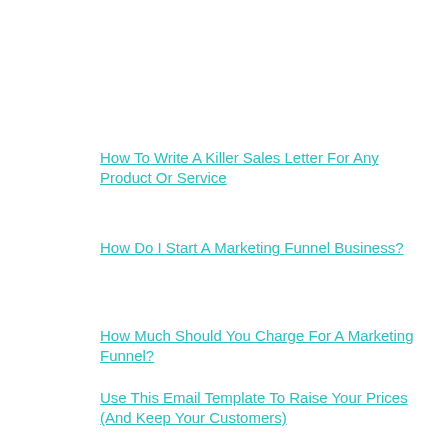How To Write A Killer Sales Letter For Any Product Or Service
How Do I Start A Marketing Funnel Business?
How Much Should You Charge For A Marketing Funnel?
Use This Email Template To Raise Your Prices (And Keep Your Customers)